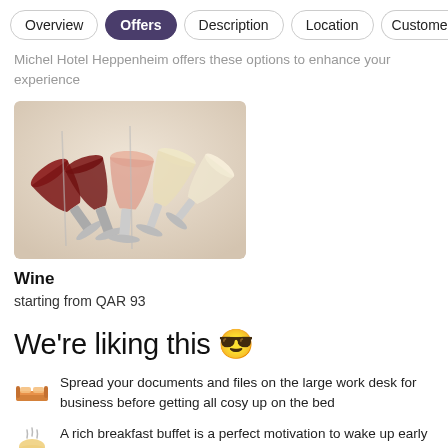Overview | Offers | Description | Location | Customer
Michel Hotel Heppenheim offers these options to enhance your experience
[Figure (photo): Overhead view of five tilted wine glasses with red, rosé, and white wines on a light background]
Wine
starting from QAR 93
We're liking this 😊
Spread your documents and files on the large work desk for business before getting all cosy up on the bed
A rich breakfast buffet is a perfect motivation to wake up early - not letting you go out without some eggs and